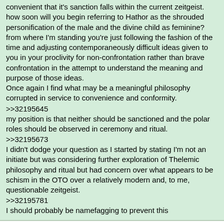convenient that it's sanction falls within the current zeitgeist. how soon will you begin referring to Hathor as the shrouded personification of the male and the divine child as feminine?
from where I'm standing you're just following the fashion of the time and adjusting contemporaneously difficult ideas given to you in your proclivity for non-confrontation rather than brave confrontation in the attempt to understand the meaning and purpose of those ideas.
Once again I find what may be a meaningful philosophy corrupted in service to convenience and conformity.
>>32195645
my position is that neither should be sanctioned and the polar roles should be observed in ceremony and ritual.
>>32195673
I didn't dodge your question as I started by stating I'm not an initiate but was considering further exploration of Thelemic philosophy and ritual but had concern over what appears to be schism in the OTO over a relatively modern and, to me, questionable zeitgeist.
>>32195781
I should probably be namefagging to prevent this
Anonymous Thu 23 Jun 2022 18:44:36 No.32195796
Quoted By: >>32195811 >>32195818
>>32195781
Think about your question for a minute. Are there any groups free of the influence of the founder of the group? There's golden dawn but it's